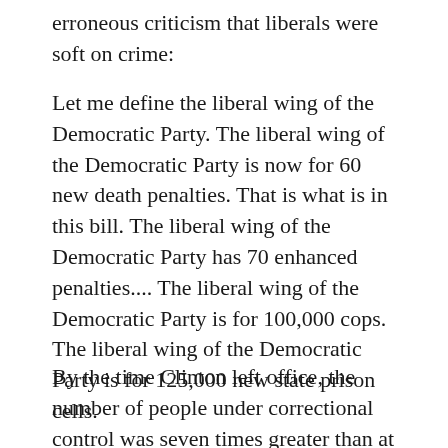erroneous criticism that liberals were soft on crime:
Let me define the liberal wing of the Democratic Party. The liberal wing of the Democratic Party is now for 60 new death penalties. That is what is in this bill. The liberal wing of the Democratic Party has 70 enhanced penalties.... The liberal wing of the Democratic Party is for 100,000 cops. The liberal wing of the Democratic Party is for 125,000 new state prison cells.
By the time Clinton left office, the number of people under correctional control was seven times greater than at the beginning of the Johnson administration, and the black-to-white ratio for incarceration rates had risen